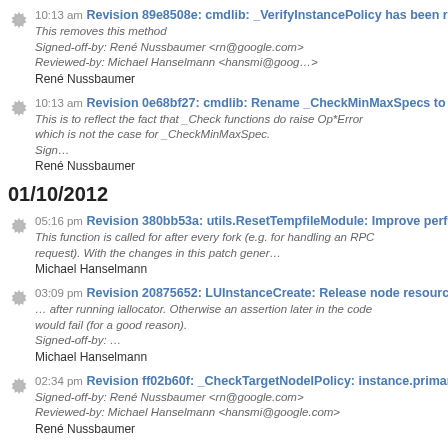10:13 am Revision 89e8508e: cmdlib: _VerifyInstancePolicy has been repl...
This removes this method
Signed-off-by: René Nussbaumer <rn@google.com>
Reviewed-by: Michael Hanselmann <hansmi@goog...>
René Nussbaumer
10:13 am Revision 0e68bf27: cmdlib: Rename _CheckMinMaxSpecs to _C...
This is to reflect the fact that _Check functions do raise Op*Error which is not the case for _CheckMinMaxSpec.
Sign...
René Nussbaumer
01/10/2012
05:16 pm Revision 380bb53a: utils.ResetTempfileModule: Improve perform...
This function is called for after every fork (e.g. for handling an RPC request). With the changes in this patch gener...
Michael Hanselmann
03:09 pm Revision 20875652: LUInstanceCreate: Release node resource...
... after running iallocator. Otherwise an assertion later in the code would fail (for a good reason).
Signed-off-by: ...
Michael Hanselmann
02:34 pm Revision ff02b60f: _CheckTargetNodeIPolicy: instance.primary_...
Signed-off-by: René Nussbaumer <rn@google.com>
Reviewed-by: Michael Hanselmann <hansmi@google.com>
René Nussbaumer
02:34 pm Revision c879832c: cmdlib: node.group is not a nodegroup obje...
Signed-off-by: René Nussbaumer <rn@google.com>
Reviewed-by: Michael Hanselmann <hansmi@google.com>
René Nussbaumer